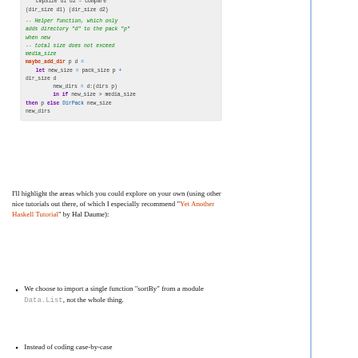[Figure (screenshot): Haskell code block showing cmpSize and maybe_add_dir functions with syntax highlighting]
I'll highlight the areas which you could explore on your own (using other nice tutorials out there, of which I especially recommend "Yet Another Haskell Tutorial" by Hal Daume):
We choose to import a single function "sortBy" from a module Data.List, not the whole thing.
Instead of coding case-by-case